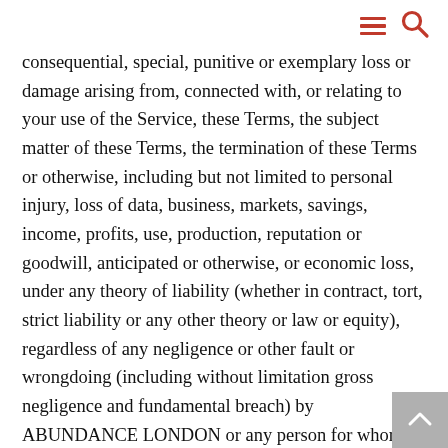[hamburger menu icon] [search icon]
consequential, special, punitive or exemplary loss or damage arising from, connected with, or relating to your use of the Service, these Terms, the subject matter of these Terms, the termination of these Terms or otherwise, including but not limited to personal injury, loss of data, business, markets, savings, income, profits, use, production, reputation or goodwill, anticipated or otherwise, or economic loss, under any theory of liability (whether in contract, tort, strict liability or any other theory or law or equity), regardless of any negligence or other fault or wrongdoing (including without limitation gross negligence and fundamental breach) by ABUNDANCE LONDON or any person for whom ABUNDANCE LONDON is responsible, and even if ABUNDANCE LONDON has been advised of the possibility of such loss or damage being incurred.